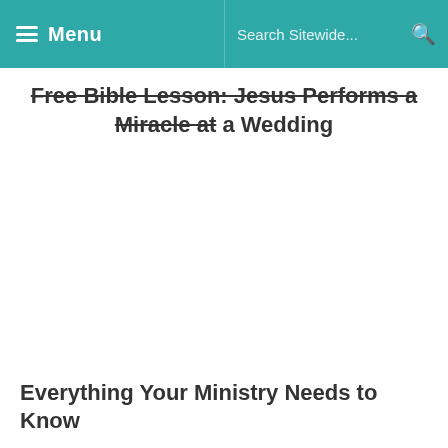Menu | Search Sitewide...
Free Bible Lesson: Jesus Performs a Miracle at a Wedding
Everything Your Ministry Needs to Know